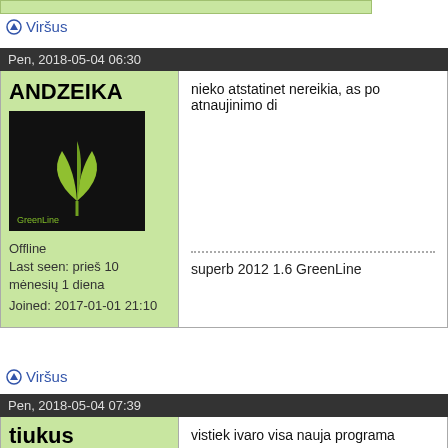Viršus
Pen, 2018-05-04 06:30
ANDZEIKA
[Figure (photo): Avatar image showing GreenLine logo - green leaf design on dark background]
Offline
Last seen: prieš 10 mėnesių 1 diena
Joined: 2017-01-01 21:10
nieko atstatinet nereikia, as po atnaujinimo di
superb 2012 1.6 GreenLine
Viršus
Pen, 2018-05-04 07:39
tiukus
vistiek ivaro visa nauja programa